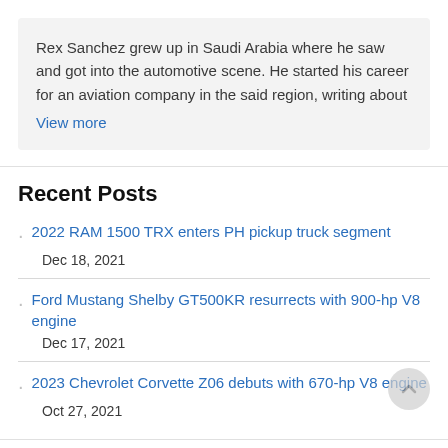Rex Sanchez grew up in Saudi Arabia where he saw and got into the automotive scene. He started his career for an aviation company in the said region, writing about
View more
Recent Posts
2022 RAM 1500 TRX enters PH pickup truck segment
Dec 18, 2021
Ford Mustang Shelby GT500KR resurrects with 900-hp V8 engine
Dec 17, 2021
2023 Chevrolet Corvette Z06 debuts with 670-hp V8 engine
Oct 27, 2021